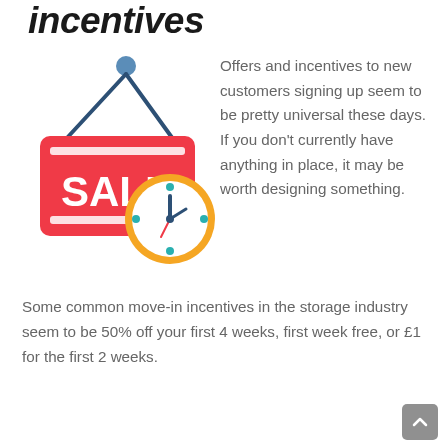incentives
[Figure (illustration): A red SALE sign hanging from a blue hook, with a clock overlapping the bottom-right corner of the sign. The clock has an orange border and teal hour markers.]
Offers and incentives to new customers signing up seem to be pretty universal these days. If you don't currently have anything in place, it may be worth designing something.
Some common move-in incentives in the storage industry seem to be 50% off your first 4 weeks, first week free, or £1 for the first 2 weeks.